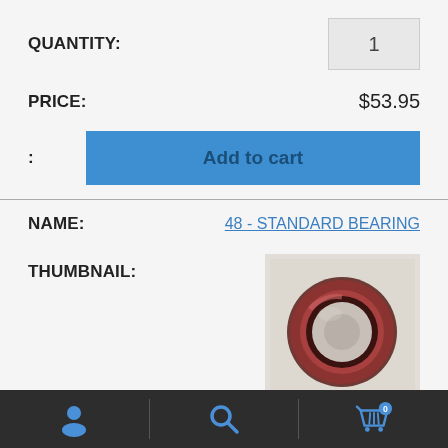QUANTITY:
1
PRICE:
$53.95
:
Add to cart
NAME:
48 - STANDARD BEARING
THUMBNAIL:
[Figure (photo): A round red/brown bearing ring on a light beige background]
SKU:
1090-00-0001
QUANTITY:
1